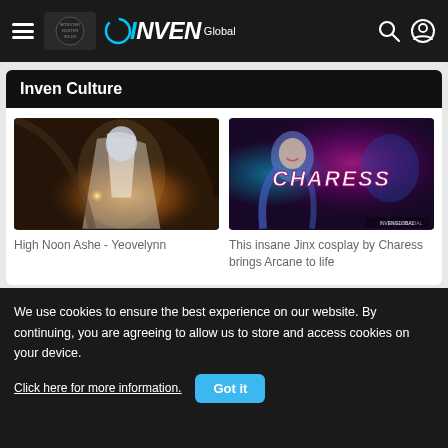INVEN Global — Monster Hunter navigation bar
Inven Culture
[Figure (photo): High Noon Ashe cosplay photo by Yeovelynn — fantasy armored archer character in dark stone environment with glowing light]
High Noon Ashe - Yeovelynn
[Figure (photo): Jinx cosplay by Charess — blue-haired character against pink/purple neon background with CHARESS text overlay and INVENGLOBAL watermark]
This insane Jinx cosplay by Charess brings Arcane to life
We use cookies to ensure the best experience on our website. By continuing, you are agreeing to allow us to store and access cookies on your device.
Click here for more information.
Got it